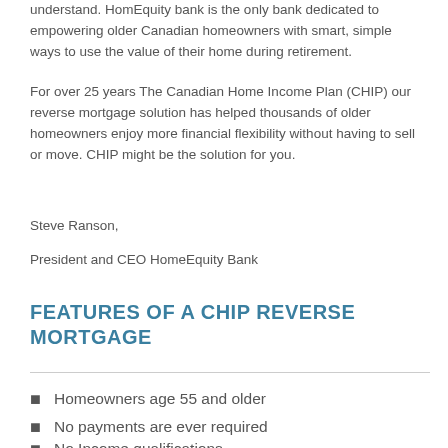understand. HomEquity bank is the only bank dedicated to empowering older Canadian homeowners with smart, simple ways to use the value of their home during retirement.
For over 25 years The Canadian Home Income Plan (CHIP) our reverse mortgage solution has helped thousands of older homeowners enjoy more financial flexibility without having to sell or move. CHIP might be the solution for you.
Steve Ranson,
President and CEO HomeEquity Bank
FEATURES OF A CHIP REVERSE MORTGAGE
Homeowners age 55 and older
No payments are ever required
No Income qualifications